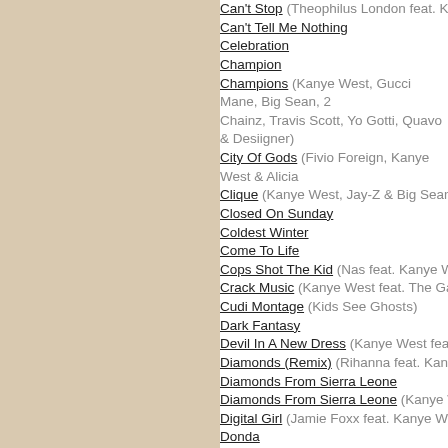Can't Stop (Theophilus London feat. Kanye West)
Can't Tell Me Nothing
Celebration
Champion
Champions (Kanye West, Gucci Mane, Big Sean, 2 Chainz, Travis Scott, Yo Gotti, Quavo & Desiigner)
City Of Gods (Fivio Foreign, Kanye West & Alicia Keys)
Clique (Kanye West, Jay-Z & Big Sean)
Closed On Sunday
Coldest Winter
Come To Life
Cops Shot The Kid (Nas feat. Kanye West)
Crack Music (Kanye West feat. The Game)
Cudi Montage (Kids See Ghosts)
Dark Fantasy
Devil In A New Dress (Kanye West feat. Rick Ross)
Diamonds (Remix) (Rihanna feat. Kanye West)
Diamonds From Sierra Leone
Diamonds From Sierra Leone (Kanye West feat. Jay-Z)
Digital Girl (Jamie Foxx feat. Kanye West & The-Dream)
Donda
Donda Chant
Don't Like.1 (Kanye West, Chief Keef, Pusha T, Big Sean & Jadakiss)
Down (Chris Brown feat. Kanye West)
Dreamin Of The Past (Pusha T feat. Kanye West)
Drive Slow (Kanye West feat. Paul Wall & GLC)
Drunk And Hot Girls (Kanye West feat. Mos Def)
E.T. (Katy Perry feat. Kanye West)
Eazy (The Game & Kanye West)
Ego (Remix) (Beyoncé feat. Kanye West)
Ego Death (Ty Dolla $ign feat. Kanye West, FKA Twigs & Skrillex)
Erase Me (Kid Cudi feat. Kanye West)
Every Hour (Kanye West feat. Sunday Service Choir)
Everything (Nas feat. The-Dream & Kanye West)
Everything I Am (Kanye West feat. Scratches by DJ Premier)